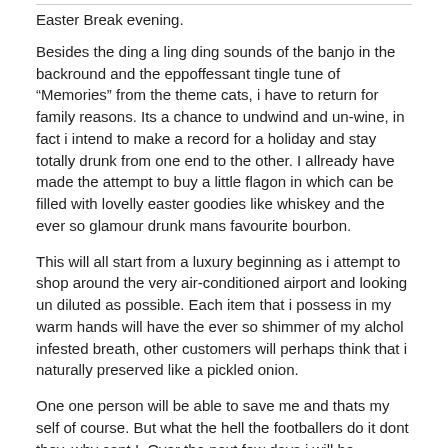Easter Break evening.
Besides the ding a ling ding sounds of the banjo in the backround and the eppoffessant tingle tune of “Memories” from the theme cats, i have to return for family reasons. Its a chance to undwind and un-wine, in fact i intend to make a record for a holiday and stay totally drunk from one end to the other. I allready have made the attempt to buy a little flagon in which can be filled with lovelly easter goodies like whiskey and the ever so glamour drunk mans favourite bourbon.
This will all start from a luxury beginning as i attempt to shop around the very air-conditioned airport and looking un diluted as possible. Each item that i possess in my warm hands will have the ever so shimmer of my alchol infested breath, other customers will perhaps think that i naturally preserved like a pickled onion.
One one person will be able to save me and thats my self of course. But what the hell the footballers do it dont they, why cant I. Over the next few days i will be suffering the presence of my wonderfull family. Painstaking hours of naturall non freedom that i have become used to. I will break these boundrys and fight there tea drinking friendliness, and replace it with glamourous vodka and cokes.
Either way i will be in contact with you and let you know how im going.